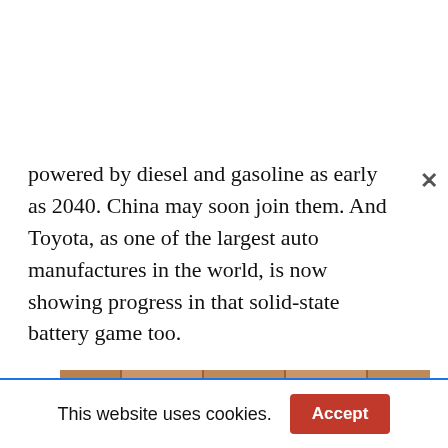powered by diesel and gasoline as early as 2040. China may soon join them. And Toyota, as one of the largest auto manufactures in the world, is now showing progress in that solid-state battery game too.
[Figure (photo): A blue Toyota sedan (solid-state battery concept car) displayed indoors on a patterned floor with wooden panel backdrop.]
This website uses cookies. Accept